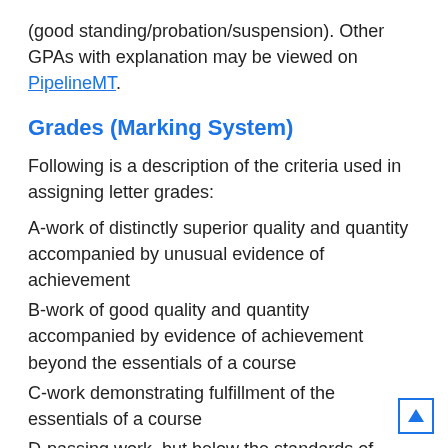(good standing/probation/suspension). Other GPAs with explanation may be viewed on PipelineMT.
Grades (Marking System)
Following is a description of the criteria used in assigning letter grades:
A-work of distinctly superior quality and quantity accompanied by unusual evidence of achievement
B-work of good quality and quantity accompanied by evidence of achievement beyond the essentials of a course
C-work demonstrating fulfillment of the essentials of a course
D-passing work, but below the standards of graduation quality
F-failure, necessitating repetition of the course to obtain credit